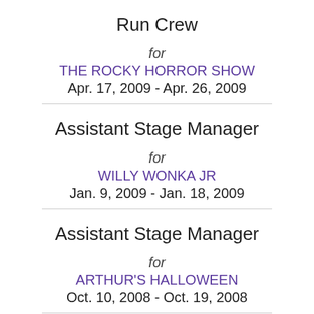Run Crew
for
THE ROCKY HORROR SHOW
Apr. 17, 2009 - Apr. 26, 2009
Assistant Stage Manager
for
WILLY WONKA JR
Jan. 9, 2009 - Jan. 18, 2009
Assistant Stage Manager
for
ARTHUR'S HALLOWEEN
Oct. 10, 2008 - Oct. 19, 2008
Assistant Stage Manager
for
SWEET CHARITY